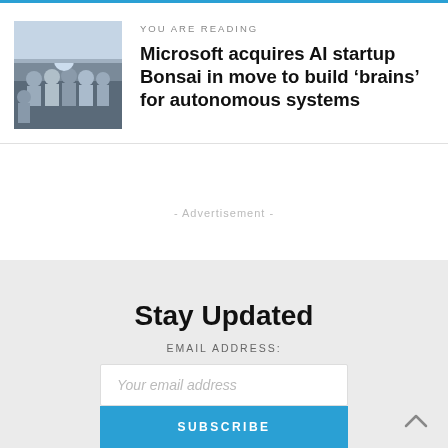YOU ARE READING
Microsoft acquires AI startup Bonsai in move to build ‘brains’ for autonomous systems
- Advertisement -
Stay Updated
EMAIL ADDRESS:
Your email address
SUBSCRIBE